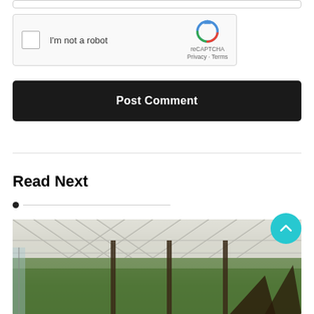[Figure (screenshot): reCAPTCHA widget with checkbox labeled 'I'm not a robot', reCAPTCHA logo, privacy and terms links]
Post Comment
Read Next
[Figure (photo): Interior view of a pergola or open-air structure with white lattice roof panels and metal sculptural elements, green trees visible in background]